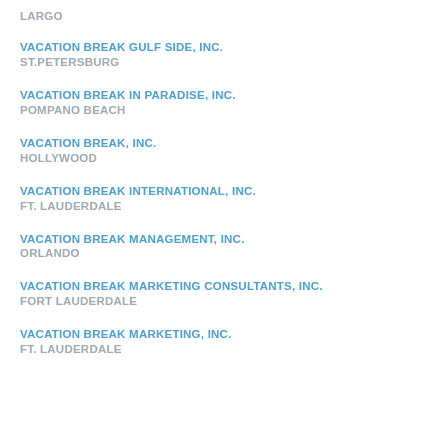LARGO
VACATION BREAK GULF SIDE, INC.
ST.PETERSBURG
VACATION BREAK IN PARADISE, INC.
POMPANO BEACH
VACATION BREAK, INC.
HOLLYWOOD
VACATION BREAK INTERNATIONAL, INC.
FT. LAUDERDALE
VACATION BREAK MANAGEMENT, INC.
ORLANDO
VACATION BREAK MARKETING CONSULTANTS, INC.
FORT LAUDERDALE
VACATION BREAK MARKETING, INC.
FT. LAUDERDALE